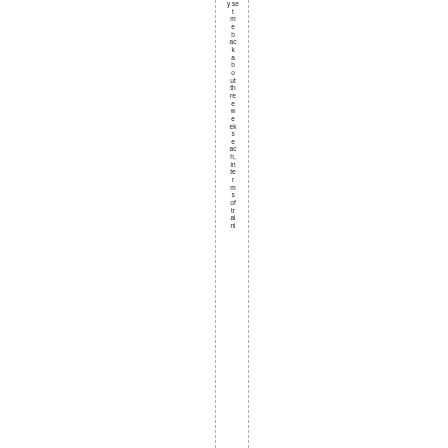yset me back about three weeks each, in terms of training